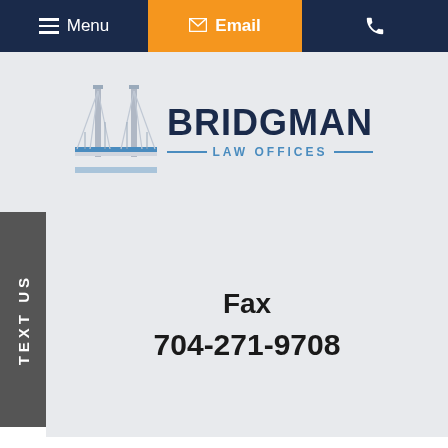Menu | Email | (phone)
[Figure (logo): Bridgman Law Offices logo with bridge illustration and text]
Fax
704-271-9708